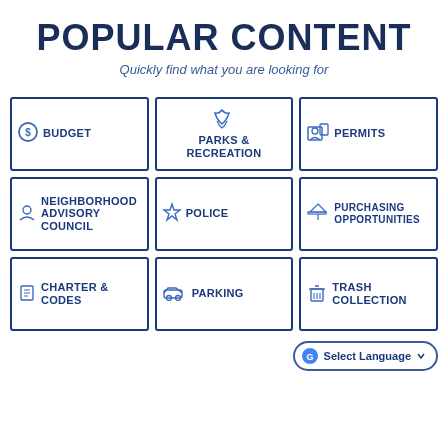POPULAR CONTENT
Quickly find what you are looking for
BUDGET
PARKS & RECREATION
PERMITS
NEIGHBORHOOD ADVISORY COUNCIL
POLICE
PURCHASING OPPORTUNITIES
CHARTER & CODES
PARKING
TRASH COLLECTION
Select Language